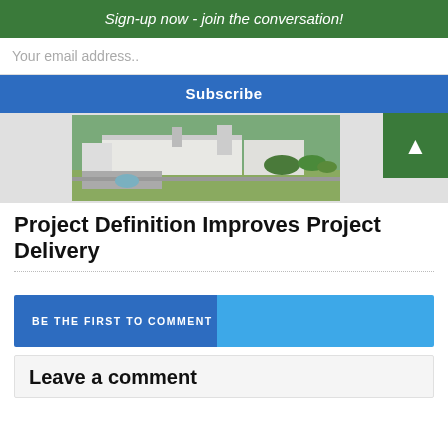Sign-up now - join the conversation!
Your email address..
Subscribe
[Figure (photo): Aerial photograph of a large industrial/manufacturing facility with multiple white buildings, parking lots, and surrounding green landscape.]
Project Definition Improves Project Delivery
BE THE FIRST TO COMMENT
Leave a comment